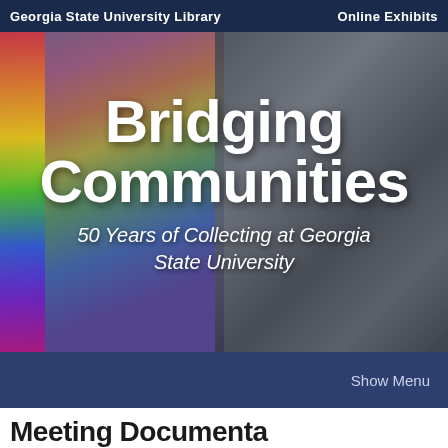Georgia State University Library | Online Exhibits
[Figure (photo): Composite photo showing a Pride parade with a man holding a rainbow flag on the left (in color) and a black-and-white photo of cheering protesters on the right. Text overlay reads 'Bridging Communities' and '50 Years of Collecting at Georgia State University'.]
Bridging Communities
50 Years of Collecting at Georgia State University
Show Menu
Meeting Documentation